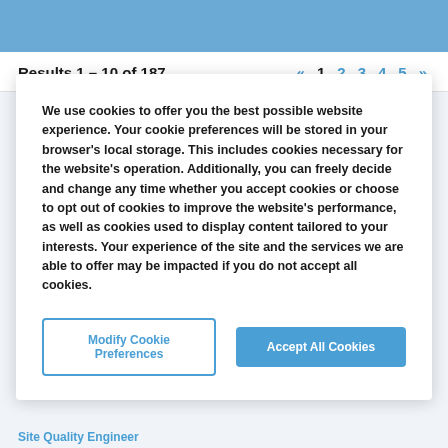Results 1 – 10 of 187
« 1 2 3 4 5 »
We use cookies to offer you the best possible website experience. Your cookie preferences will be stored in your browser's local storage. This includes cookies necessary for the website's operation. Additionally, you can freely decide and change any time whether you accept cookies or choose to opt out of cookies to improve the website's performance, as well as cookies used to display content tailored to your interests. Your experience of the site and the services we are able to offer may be impacted if you do not accept all cookies.
Modify Cookie Preferences
Accept All Cookies
Site Quality Engineer